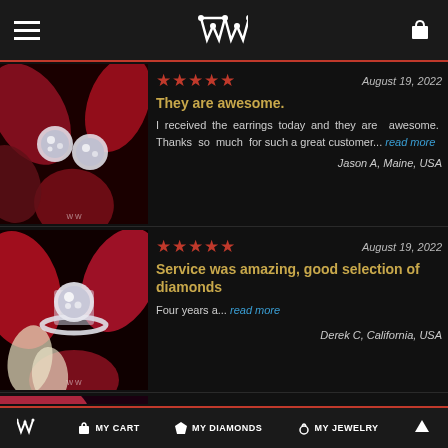WW logo navigation header with hamburger menu and cart icon
[Figure (photo): Diamond stud earrings on red flower petals with WW watermark]
★★★★★   August 19, 2022
They are awesome.
I received the earrings today and they are awesome. Thanks so much for such a great customer... read more
Jason A, Maine, USA
[Figure (photo): Diamond solitaire ring on red flower petals with WW watermark]
★★★★★   August 19, 2022
Service was amazing, good selection of diamonds
Four years a... read more
Derek C, California, USA
[Figure (photo): Partial jewelry photo - pink background]
★★★★★   August 17, 2022
WW  MY CART  MY DIAMONDS  MY JEWELRY  ↑